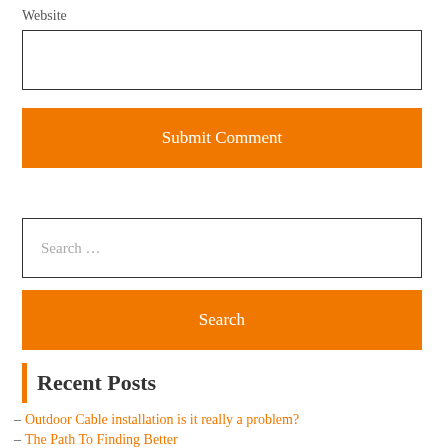Website
Submit Comment
Search ...
Search
Recent Posts
– Outdoor Cable installation is it really a problem?
– The Path To Finding Better